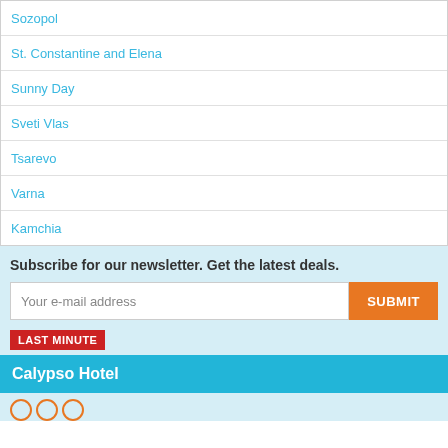Sozopol
St. Constantine and Elena
Sunny Day
Sveti Vlas
Tsarevo
Varna
Kamchia
Subscribe for our newsletter. Get the latest deals.
Your e-mail address
SUBMIT
LAST MINUTE
Calypso Hotel